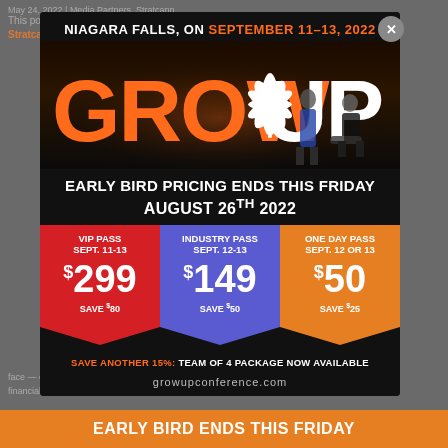May 24, 2022 | Media Partners, Stratcann
This post is presented by our media partner Stratcann
[Figure (infographic): Grow Up Conference 2022 advertisement modal. Niagara Falls, ON September 11-13, 2022. GROW UP conference logo with cannabis leaf. Early Bird Pricing Ends This Friday August 26th 2022. Three ticket options: VIP Pass Sept. 11-13 $299 Save $80 (red); Industry Pass Sept. 12-13 $149 Save $50 (purple); One Day Pass Sept. 12 or 13 $50 Save $25 (orange). Save Another 15%: Team of 4 Package Now Available. growupconference.com]
EARLY BIRD ENDS THIS FRIDAY